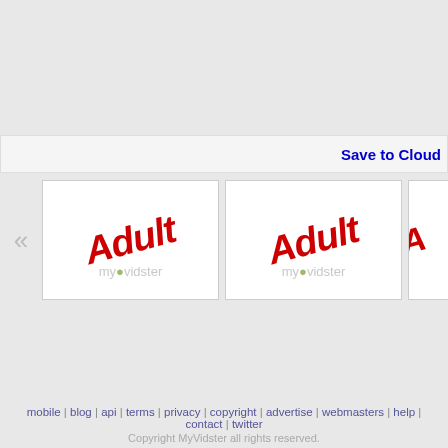Save to Cloud
[Figure (screenshot): Adult content placeholder thumbnail with red italic 'Adult' text and myvidster watermark]
[Figure (screenshot): Adult content placeholder thumbnail with red italic 'Adult' text and myvidster watermark]
[Figure (screenshot): Partially visible adult content placeholder thumbnail]
mobile | blog | api | terms | privacy | copyright | advertise | webmasters | help | contact | twitter
Copyright MyVidster all rights reserved.